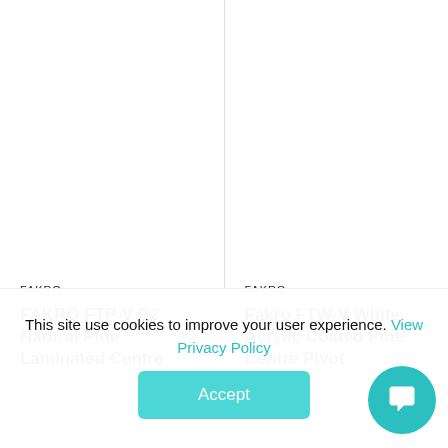FAKRO
FAKRO FTP-V P2 Natural Pine Laminated Centre
FAKRO
Fakro FTW-V White Acrylic Coated Pine Centre Pivot
This site use cookies to improve your user experience. View Privacy Policy
Accept